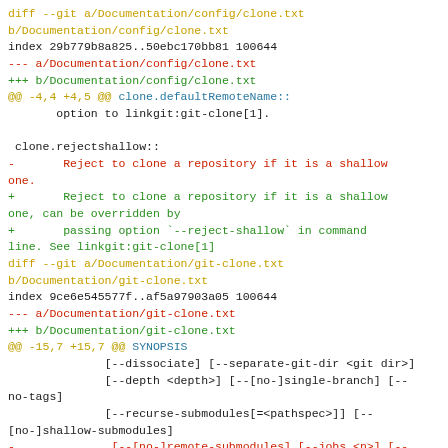diff --git a/Documentation/config/clone.txt b/Documentation/config/clone.txt
index 29b779b8a825..50ebc170bb81 100644
--- a/Documentation/config/clone.txt
+++ b/Documentation/config/clone.txt
@@ -4,4 +4,5 @@ clone.defaultRemoteName::
        option to linkgit:git-clone[1].

 clone.rejectshallow::
-       Reject to clone a repository if it is a shallow one.
+       Reject to clone a repository if it is a shallow one, can be overridden by
+       passing option `--reject-shallow` in command line. See linkgit:git-clone[1]
diff --git a/Documentation/git-clone.txt b/Documentation/git-clone.txt
index 9ce6e545577f..af5a97903a05 100644
--- a/Documentation/git-clone.txt
+++ b/Documentation/git-clone.txt
@@ -15,7 +15,7 @@ SYNOPSIS
               [--dissociate] [--separate-git-dir <git dir>]
               [--depth <depth>] [--[no-]single-branch] [--no-tags]
               [--recurse-submodules[=<pathspec>]] [--[no-]shallow-submodules]
-              [--[no-]remote-submodules] [--jobs <n>] [--sparse] [--no-shallow]
+              [--[no-]remote-submodules] [--jobs <n>] [--